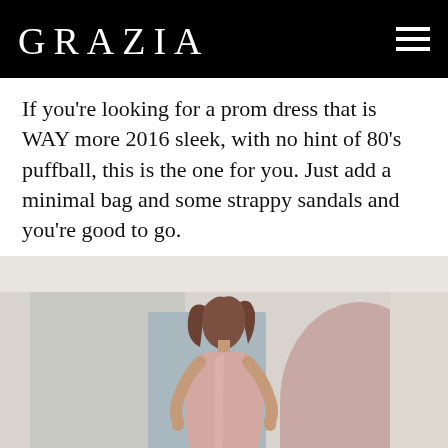GRAZIA
If you're looking for a prom dress that is WAY more 2016 sleek, with no hint of 80's puffball, this is the one for you. Just add a minimal bag and some strappy sandals and you're good to go.
[Figure (photo): Fashion photo of a female model wearing a sleek blush/rose gold satin mini dress with a V-neckline, standing against a pastel geometric background with grey, blush pink and cream panels. The model has brown hair blowing slightly.]